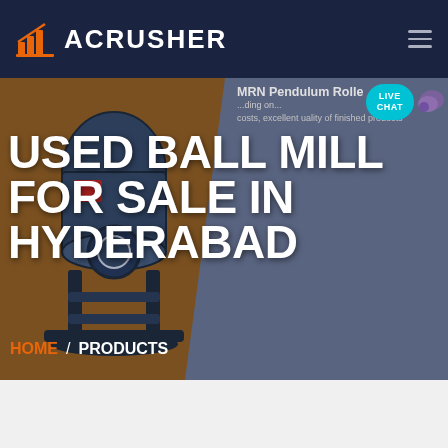ACRUSHER
[Figure (screenshot): ACRUSHER website screenshot showing a used ball mill machine for sale in Hyderabad. Dark blue header with orange logo, large hero section with brown and gray background, industrial ball mill machine image on the left, large white text heading, breadcrumb navigation, MRN Pendulum Roller Mill panel on the right, live chat bubble.]
USED BALL MILL FOR SALE IN HYDERABAD
MRN Pendulum Rolle...ding on... costs, excellent uality of finished products
HOME / PRODUCTS
Get a Quote
WhatsApp